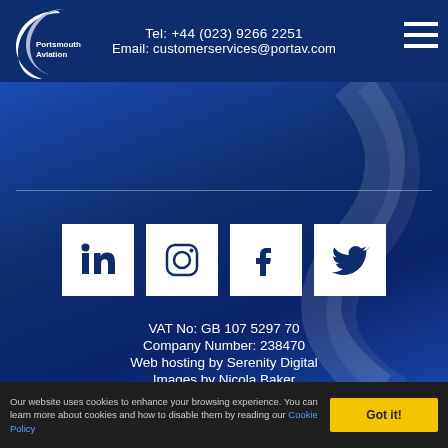Tel: +44 (023) 9266 2251
Email: customerservices@portav.com
[Figure (logo): Portsmouth Aviation logo — crescent moon shape with 'Portsmouth Aviation' text]
[Figure (infographic): Social media icons: LinkedIn, Instagram, Facebook, Twitter — white squares with dark blue icons]
VAT No: GB 107 5297 70
Company Number: 238470
Web hosting by Serenity Digital
Images by Nicola Baker
Our website uses cookies to enhance your browsing experience. You can learn more about cookies and how to disable them by reading our Cookie Policy